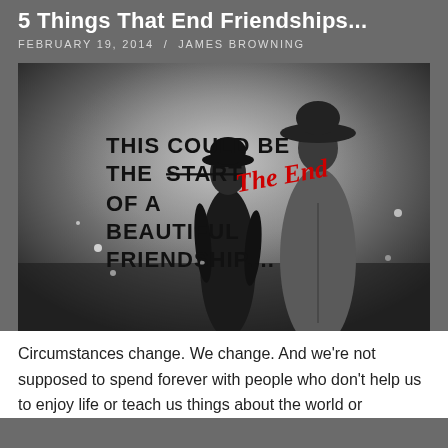FEBRUARY 19, 2014 / JAMES BROWNING
[Figure (photo): Black and white photo of two men standing with backs to camera, with overlaid text reading 'This could be the START The End of a beautiful friendship....' The word START is struck through and 'The End' is written in red cursive over it.]
Circumstances change. We change. And we're not supposed to spend forever with people who don't help us to enjoy life or teach us things about the world or